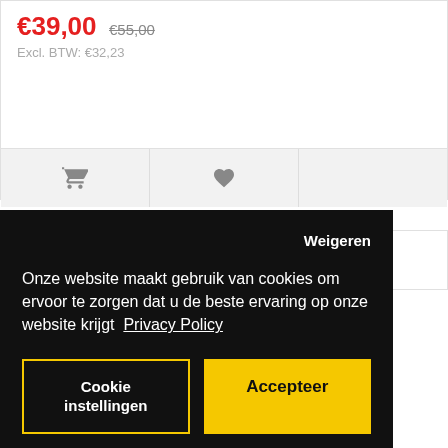€39,00  €55,00
Excl. BTW: €32,23
[Figure (screenshot): Action bar with shopping cart icon, heart/wishlist icon, and a third empty action button on a light grey background]
[Figure (screenshot): Cookie consent overlay on black background with 'Weigeren' dismiss link, cookie notice text in Dutch referencing Privacy Policy, 'Cookie instellingen' button with yellow border, and yellow 'Accepteer' button]